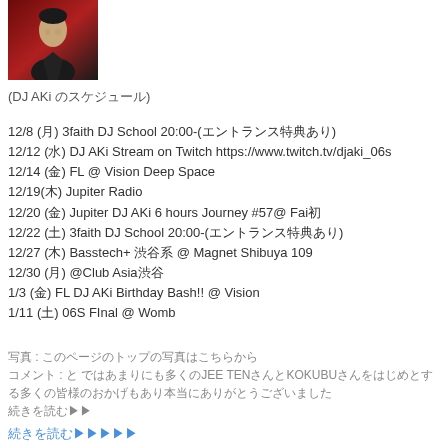[Figure (photo): Portrait photo of DJ AKi against red background]
(DJ AKi のスケジュール)
12/8 (月) 3faith DJ School 20:00-(エントランス特典あり)
12/12 (水) DJ AKi Stream on Twitch https://www.twitch.tv/djaki_06s
12/14 (金) FL @ Vision Deep Space
12/19(木) Jupiter Radio
12/20 (金) Jupiter DJ AKi 6 hours Journey #57@ Fai初
12/22 (土) 3faith DJ School 20:00-(エントランス特典あり)
12/27 (木) Basstech+ 渋谷系 @ Magnet Shibuya 109
12/30 (月) @Club Asia渋谷
1/3 (金) FL DJ AKi Birthday Bash!! @ Vision
1/11 (土) 06S FInal @ Womb
写真 : このページのトップの写真はこちらから
コメント : と ではあまりにも多くのJEE TENさんとKOKUBUさんをはじめとする多くの皆様のおかげもあり本当にありがとうございました
続きを読む▶▶